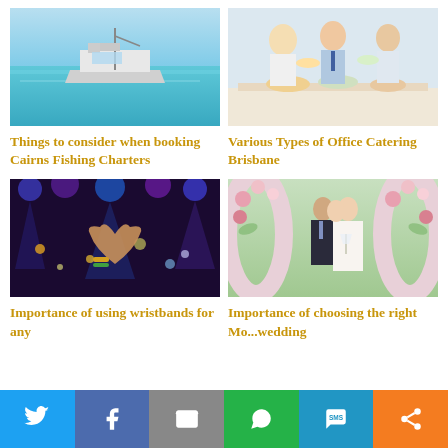[Figure (photo): A motorboat on clear blue-green water, fishing charter vessel]
[Figure (photo): People at an office catering event, serving food at a buffet]
Things to consider when booking Cairns Fishing Charters
Various Types of Office Catering Brisbane
[Figure (photo): Concert crowd with hands making heart shape, colorful stage lights]
[Figure (photo): Wedding couple kissing under a floral arch with pink roses]
Importance of using wristbands for any
Importance of choosing the right Mo...wedding